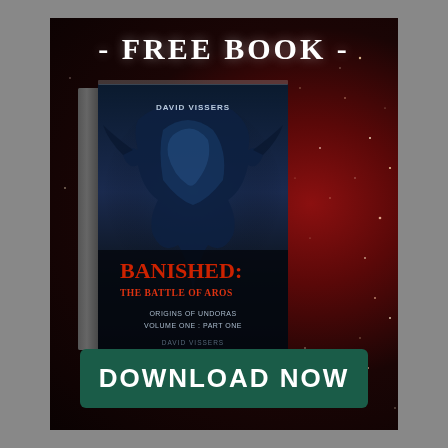[Figure (illustration): Book advertisement on dark red nebula background. Shows a 3D book cover for 'Banished: The Battle of Aros – Origins of Undoras Volume One Part One' by David Vissers, with a dragon creature on the cover. Text '- FREE BOOK -' at top in white serif font. Green 'DOWNLOAD NOW' button at bottom.]
- FREE BOOK -
BANISHED: THE BATTLE OF AROS
ORIGINS OF UNDORAS
VOLUME ONE : PART ONE
DAVID VISSERS
DOWNLOAD NOW